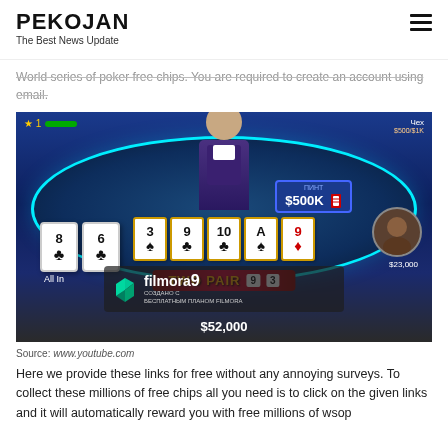PEKOJAN
The Best News Update
World series of poker free chips. You are required to create an account using email.
[Figure (screenshot): Screenshot of a poker game (Zynga Poker / WSOP) showing a "TWO PAIR" hand with community cards (3♠, 9♣, 10♣, A♠, 9♦), player hand (8♣, 6♣), pot of $500K, bottom stack $52,000, with Filmora 9 watermark overlay in Russian.]
Source: www.youtube.com
Here we provide these links for free without any annoying surveys. To collect these millions of free chips all you need is to click on the given links and it will automatically reward you with free millions of wsop